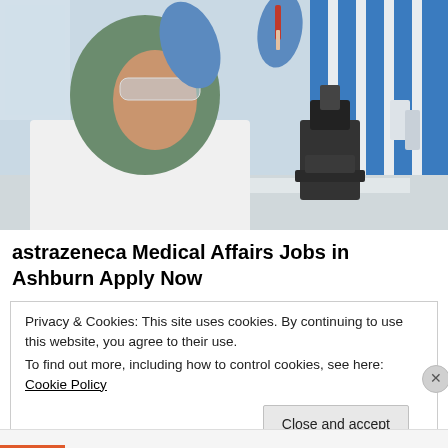[Figure (photo): A woman wearing a green hijab, white lab coat, and blue gloves holds a test tube near a microscope in a laboratory setting with blue and white shelving in the background.]
astrazeneca Medical Affairs Jobs in Ashburn Apply Now
Privacy & Cookies: This site uses cookies. By continuing to use this website, you agree to their use.
To find out more, including how to control cookies, see here: Cookie Policy
Close and accept